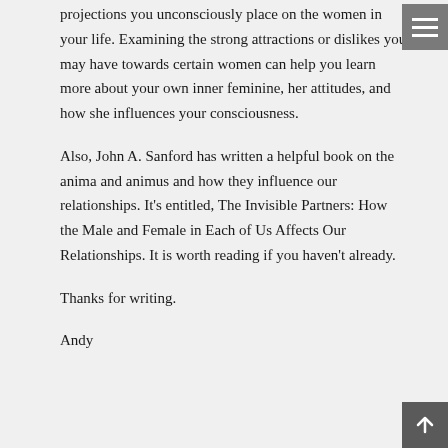projections you unconsciously place on the women in your life. Examining the strong attractions or dislikes you may have towards certain women can help you learn more about your own inner feminine, her attitudes, and how she influences your consciousness.
Also, John A. Sanford has written a helpful book on the anima and animus and how they influence our relationships. It's entitled, The Invisible Partners: How the Male and Female in Each of Us Affects Our Relationships. It is worth reading if you haven't already.
Thanks for writing.
Andy